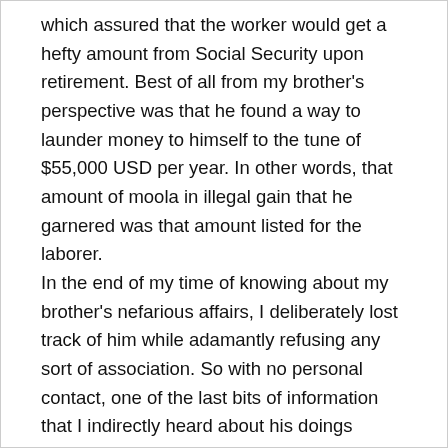which assured that the worker would get a hefty amount from Social Security upon retirement. Best of all from my brother's perspective was that he found a way to launder money to himself to the tune of $55,000 USD per year. In other words, that amount of moola in illegal gain that he garnered was that amount listed for the laborer.
In the end of my time of knowing about my brother's nefarious affairs, I deliberately lost track of him while adamantly refusing any sort of association. So with no personal contact, one of the last bits of information that I indirectly heard about his doings concerned an expensive ring given to me that he'd pilfered and gave as an engagement ring to his fiancée. However, he secretly had “nooky” with a waitress behind the back of betrothed and she found